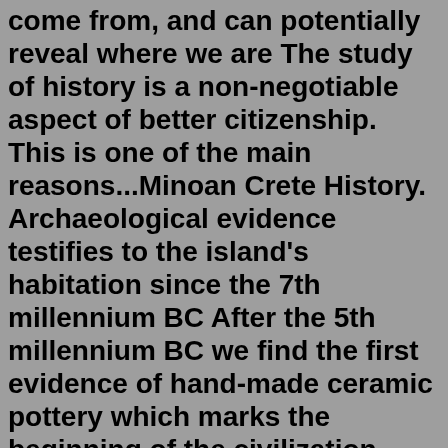come from, and can potentially reveal where we are The study of history is a non-negotiable aspect of better citizenship. This is one of the main reasons...Minoan Crete History. Archaeological evidence testifies to the island's habitation since the 7th millennium BC After the 5th millennium BC we find the first evidence of hand-made ceramic pottery which marks the beginning of the civilization Evans, the famed archaeologist who excavated Knossos, named "Minoan" after the legendary king Minos.A Brief History Of Russia. The famous Basil's Cathedral in Moscow. 6. Prehistoric Russia. The first mentioning of some community in the territory of what we now refer to as Russia came to be in the Fourth Century AD with the formation of the first tribal union of Eastern Slavs (Volhynians and Buzhans). The following century marked yet another ...Sep 05, 2018 · The stories we were told as children that stuck with us our entire lives will continue to be passed down for generations, serving the same benefit as it did for us. As we think about how prevalent